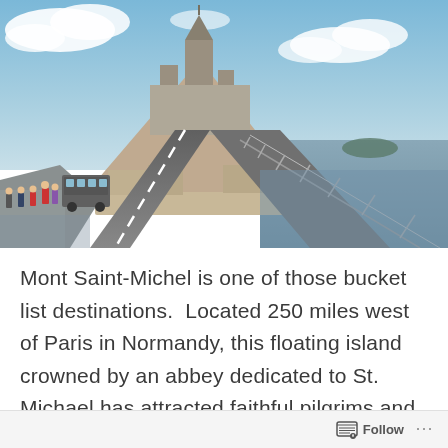[Figure (photo): Photograph of Mont Saint-Michel viewed from the causeway road leading to it. A bus and pedestrians are visible on the left side of the road. The tidal island with its abbey and medieval buildings rises dramatically in the center background. Flat tidal flats and sea are visible to the right. Blue sky with scattered clouds overhead.]
Mont Saint-Michel is one of those bucket list destinations.  Located 250 miles west of Paris in Normandy, this floating island crowned by an abbey dedicated to St. Michael has attracted faithful pilgrims and modern-day travelers alike for
Follow ...